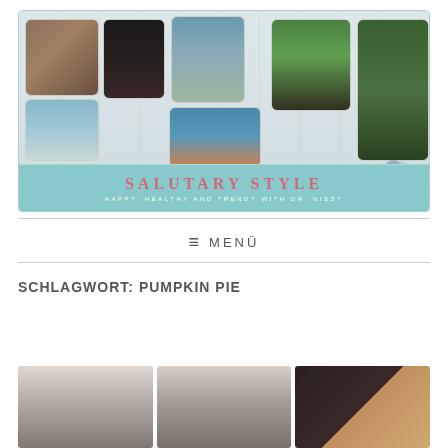[Figure (photo): Blog header banner for 'Salutary Style – Happy, Healthy and Trendy with Dr. Nissy'. Shows a collage of photos including a cat, a woman, a European town tower, a harbor scene, a girl, a person on horseback, and a lake view. A light blue strip at the bottom reads 'SALUTARY STYLE' in pink letters and 'HAPPY, HEALTHY AND TRENDY WITH DR. NISSY' in white. An airplane illustration is on the left of the strip, and floral decoration on the right.]
≡ MENÜ
SCHLAGWORT: PUMPKIN PIE
[Figure (photo): Three partial images at the bottom of the page showing people wearing hats (two photos) and what appears to be a dark studded surface with a wooden triangular piece (third photo).]